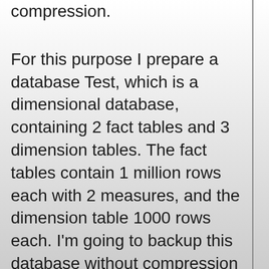compression.
For this purpose I prepare a database Test, which is a dimensional database, containing 2 fact tables and 3 dimension tables. The fact tables contain 1 million rows each with 2 measures, and the dimension table 1000 rows each. I'm going to backup this database without compression first. Then with compression. I will repeat each test 3 times, and average